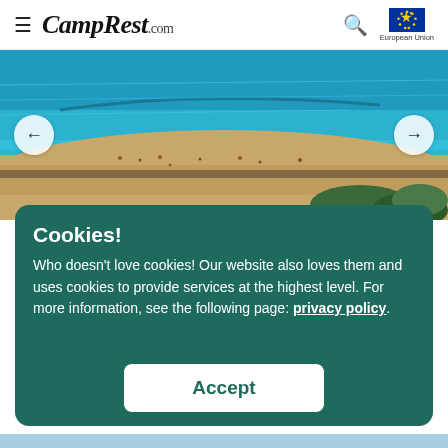≡ CampRest.com [search icon] European Union
[Figure (photo): Aerial view of a beach with turquoise sea water, sandy shore with people, and green trees in the lower right. Navigation arrows on left and right.]
Cookies!
Who doesn't love cookies! Our website also loves them and uses cookies to provide services at the highest level. For more information, see the following page: privacy policy.
Accept